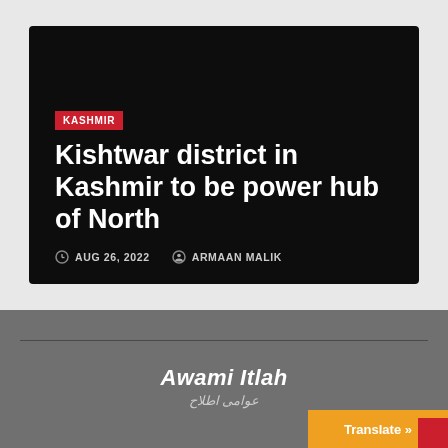[Figure (screenshot): News article card on dark background showing Kashmir category tag, headline 'Kishtwar district in Kashmir to be power hub of North', date AUG 26, 2022, and author ARMAAN MALIK]
Kishtwar district in Kashmir to be power hub of North
AUG 26, 2022   ARMAAN MALIK
[Figure (logo): Awami Itlah logo in English and Urdu script on dark grey background]
Translate »